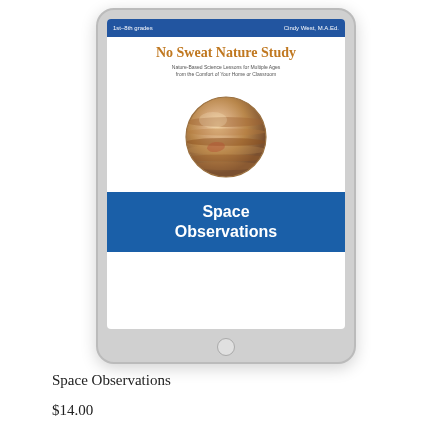[Figure (illustration): A tablet device displaying the cover of 'No Sweat Nature Study: Space Observations' by Cindy West, M.A.Ed., for 1st-8th grades. The cover shows a large planet (Jupiter) image and a blue banner reading 'Space Observations'.]
Space Observations
$14.00